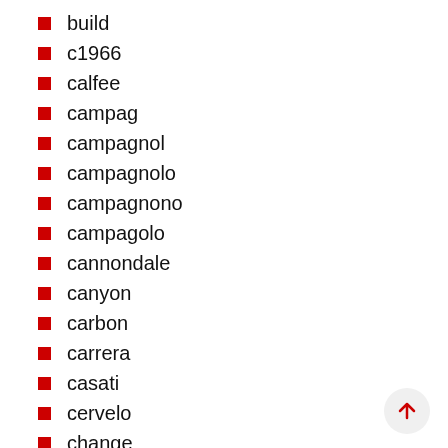build
c1966
calfee
campag
campagnol
campagnolo
campagnono
campagolo
cannondale
canyon
carbon
carrera
casati
cervelo
change
cheap